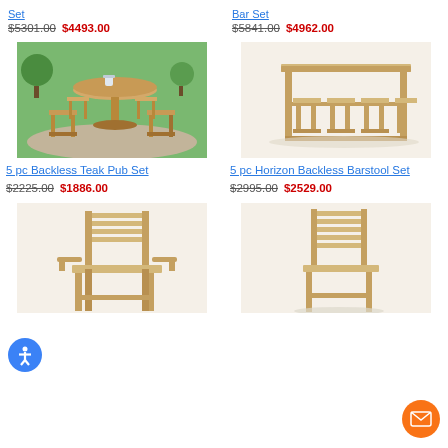Set
$5301.00  $4493.00
Bar Set
$5841.00  $4962.00
[Figure (photo): 5 pc backless teak pub set with round table and four stools, outdoor setting with green grass background]
5 pc Backless Teak Pub Set
$2225.00  $1886.00
[Figure (photo): 5 pc Horizon Backless Barstool Set with rectangular table and four backless stools, light wood teak]
5 pc Horizon Backless Barstool Set
$2995.00  $2529.00
[Figure (photo): Teak bar chair with arms and slatted back, outdoor bar stool with armrests]
[Figure (photo): Teak bar stool without arms, slatted back outdoor bar chair]